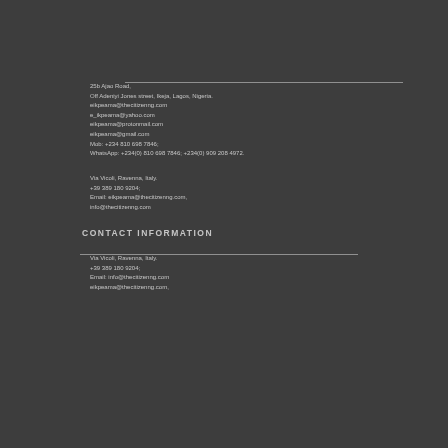25b Ajao Road,
Off Adeniyi Jones street, Ikeja, Lagos, Nigeria.
eikpeama@thecitizenng.com
e_ikpeama@yahoo.com
eikpeama@protonmail.com
eikpeama@gmail.com
Mob: +234 810 698 7846;
WhatsApp: +234(0) 810 698 7846; +234(0) 909 208 4972.
Via Vicoli, Ravenna, Italy.
+39 389 180 9204;
Email: eikpeama@thecitizenng.com,
info@thecitizenng.com
CONTACT INFORMATION
Via Vicoli, Ravenna, Italy.
+39 389 180 9204;
Email: info@thecitizenng.com
eikpeama@thecitizenng.com,